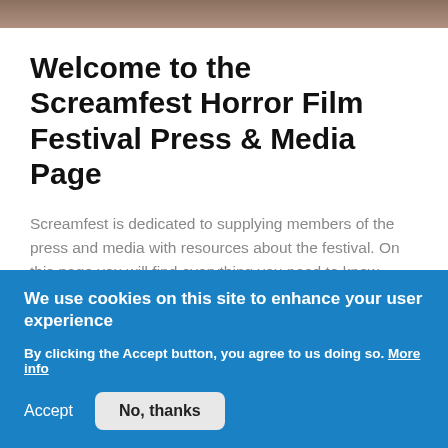[Figure (photo): Partial photo strip at top of page, warm toned]
Welcome to the Screamfest Horror Film Festival Press & Media Page
Screamfest is dedicated to supplying members of the press and media with resources about the festival. On this page you will find everything you need to know about Screamfest as well as a link to the press credential request form for the festival held in October.
We use cookies on this site to enhance your user experience
By clicking the Accept button, you agree to us doing so. More info
Accept   No, thanks